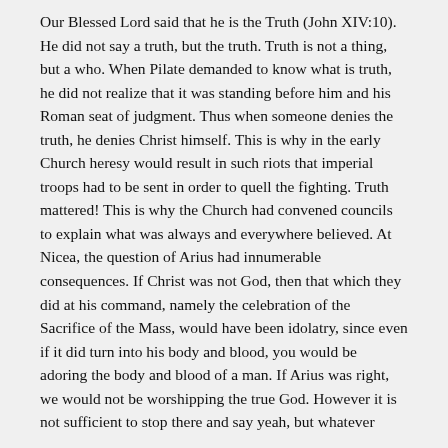Our Blessed Lord said that he is the Truth (John XIV:10). He did not say a truth, but the truth. Truth is not a thing, but a who. When Pilate demanded to know what is truth, he did not realize that it was standing before him and his Roman seat of judgment. Thus when someone denies the truth, he denies Christ himself. This is why in the early Church heresy would result in such riots that imperial troops had to be sent in order to quell the fighting. Truth mattered! This is why the Church had convened councils to explain what was always and everywhere believed. At Nicea, the question of Arius had innumerable consequences. If Christ was not God, then that which they did at his command, namely the celebration of the Sacrifice of the Mass, would have been idolatry, since even if it did turn into his body and blood, you would be adoring the body and blood of a man. If Arius was right, we would not be worshipping the true God. However it is not sufficient to stop there and say yeah, but whatever